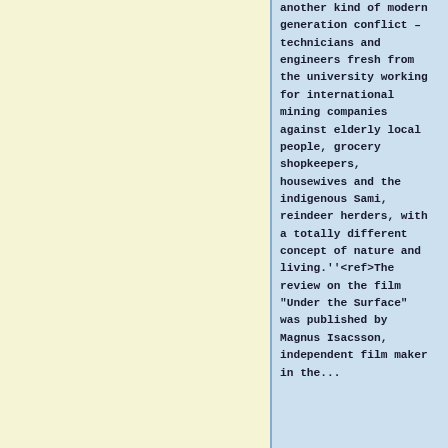another kind of modern generation conflict – technicians and engineers fresh from the university working for international mining companies against elderly local people, grocery shopkeepers, housewives and the indigenous Sami, reindeer herders, with a totally different concept of nature and living.''<ref>The review on the film "Under the Surface" was published by Magnus Isacsson, independent film maker in the...